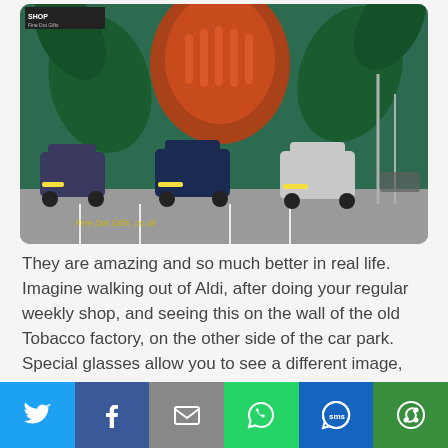[Figure (photo): Photograph of a car park with vehicles parked in front of a large colourful street mural on the wall of an old building. The mural features a large skeletal/anatomical torso figure with red and green colours. Watermark reads 'Fine Dot Gifts .co.uk'.]
They are amazing and so much better in real life. Imagine walking out of Aldi, after doing your regular weekly shop, and seeing this on the wall of the old Tobacco factory, on the other side of the car park. Special glasses allow you to see a different image, which you can just about make out without.
[Figure (photo): Partial view of a second photo showing colourful street art murals on buildings, visible from the bottom of the page.]
[Figure (infographic): Social media share button bar at the bottom with six buttons: Twitter (blue bird icon), Facebook (dark blue f icon), Email (grey envelope icon), WhatsApp (green speech bubble icon), SMS (blue SMS icon), More/share (green circular arrow icon).]